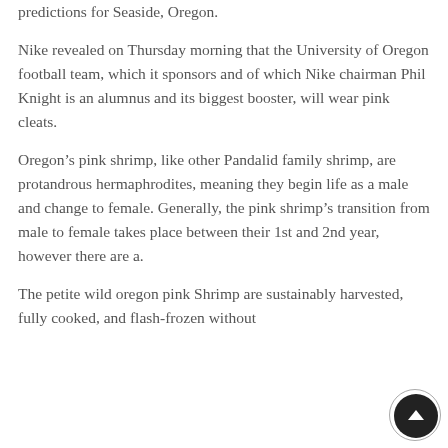predictions for Seaside, Oregon.
Nike revealed on Thursday morning that the University of Oregon football team, which it sponsors and of which Nike chairman Phil Knight is an alumnus and its biggest booster, will wear pink cleats.
Oregon’s pink shrimp, like other Pandalid family shrimp, are protandrous hermaphrodites, meaning they begin life as a male and change to female. Generally, the pink shrimp’s transition from male to female takes place between their 1st and 2nd year, however there are a.
The petite wild oregon pink Shrimp are sustainably harvested, fully cooked, and flash-frozen withou